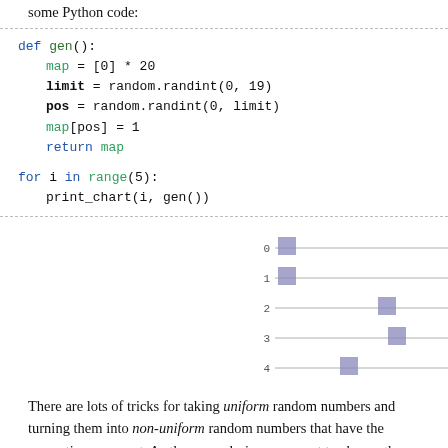some Python code:
[Figure (bar-chart): Five horizontal bar charts (labeled 0 through 4) each showing a single bar at a different position along a horizontal axis, representing a randomly placed 1 in a list of 20 zeros.]
There are lots of tricks for taking uniform random numbers and turning them into non-uniform random numbers that have the properties you want. As the game designer you get to choose the distribution of the random numbers you want. I've written an article about how to use